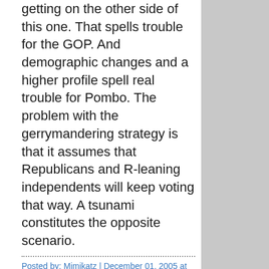getting on the other side of this one. That spells trouble for the GOP. And demographic changes and a higher profile spell real trouble for Pombo. The problem with the gerrymandering strategy is that it assumes that Republicans and R-leaning independents will keep voting that way. A tsunami constitutes the opposite scenario.
Posted by: Mimikatz | December 01, 2005 at 12:08